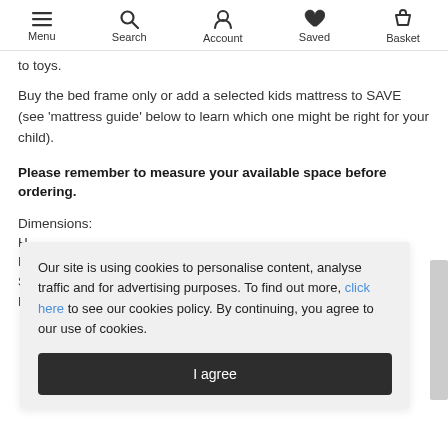Menu | Search | Account | Saved | Basket
to toys.
Buy the bed frame only or add a selected kids mattress to SAVE (see 'mattress guide' below to learn which one might be right for your child).
Please remember to measure your available space before ordering.
Dimensions:
H
Our site is using cookies to personalise content, analyse traffic and for advertising purposes. To find out more, click here to see our cookies policy. By continuing, you agree to our use of cookies.
I agree